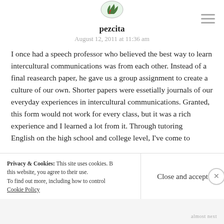[Figure (logo): Green and red decorative logo/avatar image at top center]
pezcita
August 12, 2011 at 11:36 am
I once had a speech professor who believed the best way to learn intercultural communications was from each other. Instead of a final reasearch paper, he gave us a group assignment to create a culture of our own. Shorter papers were essetially journals of our everyday experiences in intercultural communications. Granted, this form would not work for every class, but it was a rich experience and I learned a lot from it. Through tutoring English on the high school and college level, I've come to
Privacy & Cookies: This site uses cookies. By continuing to use this website, you agree to their use.
To find out more, including how to control cookies, see here:
Cookie Policy
Close and accept